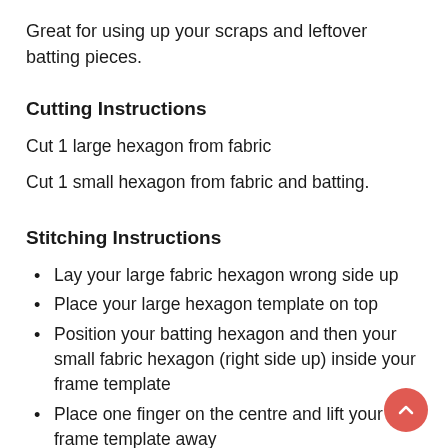Great for using up your scraps and leftover batting pieces.
Cutting Instructions
Cut 1 large hexagon from fabric
Cut 1 small hexagon from fabric and batting.
Stitching Instructions
Lay your large fabric hexagon wrong side up
Place your large hexagon template on top
Position your batting hexagon and then your small fabric hexagon (right side up) inside your frame template
Place one finger on the centre and lift your frame template away
One side of the diamond at a time - fold the seam